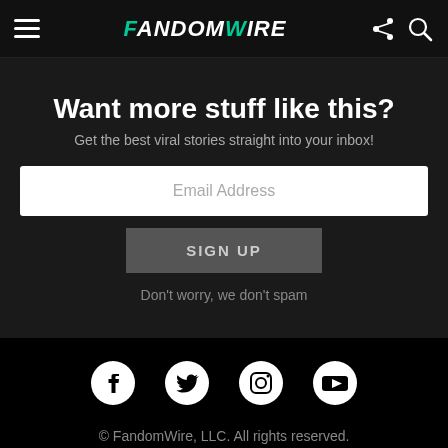FandomWire
Want more stuff like this?
Get the best viral stories straight into your inbox!
Email Address
SIGN UP
Don't worry, we don't spam
[Figure (illustration): Social media icons: Facebook, Twitter, Instagram, YouTube]
© FandomWire, LLC. All rights reserved.
About   Contact   Terms & Conditions